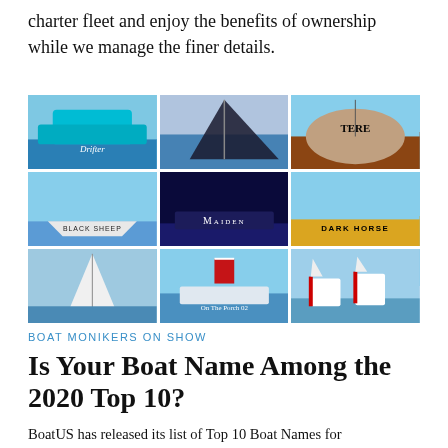charter fleet and enjoy the benefits of ownership while we manage the finer details.
[Figure (photo): A 3x3 grid of nine sailing/boating photographs showing various boats including ones named Drifter, Black Sheep, Maiden, Dark Horse, Tere, and On The Porch 02]
BOAT MONIKERS ON SHOW
Is Your Boat Name Among the 2020 Top 10?
BoatUS has released its list of Top 10 Boat Names for